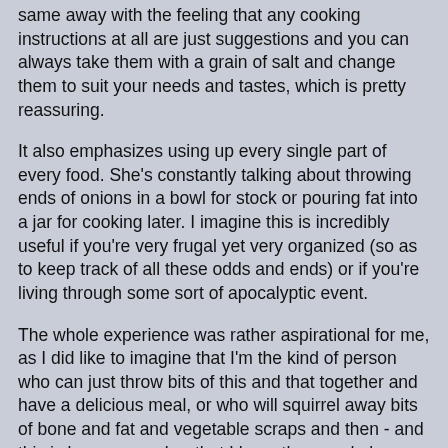same away with the feeling that any cooking instructions at all are just suggestions and you can always take them with a grain of salt and change them to suit your needs and tastes, which is pretty reassuring.
It also emphasizes using up every single part of every food. She's constantly talking about throwing ends of onions in a bowl for stock or pouring fat into a jar for cooking later. I imagine this is incredibly useful if you're very frugal yet very organized (so as to keep track of all these odds and ends) or if you're living through some sort of apocalyptic event.
The whole experience was rather aspirational for me, as I did like to imagine that I'm the kind of person who can just throw bits of this and that together and have a delicious meal, or who will squirrel away bits of bone and fat and vegetable scraps and then - and this is key - remember that I have them and also where I put them.
In reality, I think maybe it did give me a few ideas about ways to use bits of leftovers; primarily, smashing them up and putting them on toast. There were also a couple of practical ideas I might employ: buying lots of vegetables and